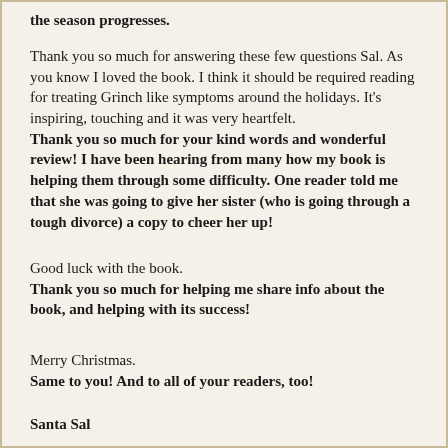the season progresses.
Thank you so much for answering these few questions Sal. As you know I loved the book. I think it should be required reading for treating Grinch like symptoms around the holidays. It's inspiring, touching and it was very heartfelt. Thank you so much for your kind words and wonderful review! I have been hearing from many how my book is helping them through some difficulty. One reader told me that she was going to give her sister (who is going through a tough divorce) a copy to cheer her up!
Good luck with the book. Thank you so much for helping me share info about the book, and helping with its success!
Merry Christmas. Same to you! And to all of your readers, too!
Santa Sal